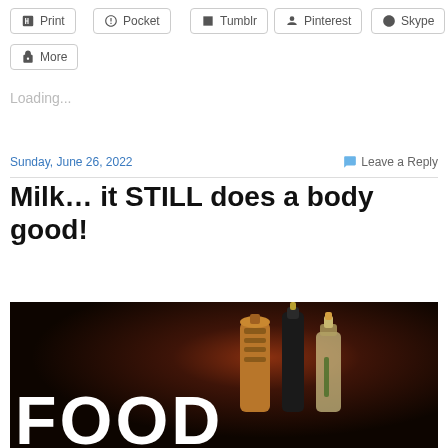Print
Pocket
Tumblr
Pinterest
Skype
More
Loading...
Sunday, June 26, 2022
Leave a Reply
Milk… it STILL does a body good!
[Figure (photo): Dark background food image with FOOD text and bottles/condiments including a wooden pepper grinder, dark bottle, and oil/vinegar bottle]